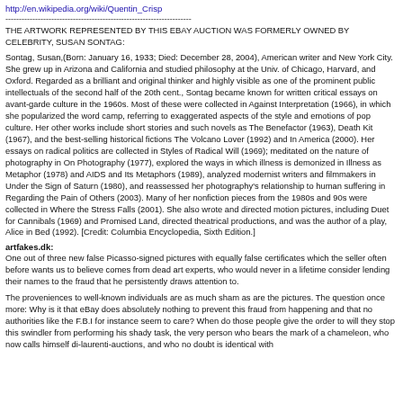http://en.wikipedia.org/wiki/Quentin_Crisp
---------------------------------------------------------------------
THE ARTWORK REPRESENTED BY THIS EBAY AUCTION WAS FORMERLY OWNED BY CELEBRITY, SUSAN SONTAG:
Sontag, Susan,(Born: January 16, 1933; Died: December 28, 2004), American writer and New York City. She grew up in Arizona and California and studied philosophy at the Univ. of Chicago, Harvard, and Oxford. Regarded as a brilliant and original thinker and highly visible as one of the prominent public intellectuals of the second half of the 20th cent., Sontag became known for written critical essays on avant-garde culture in the 1960s. Most of these were collected in Against Interpretation (1966), in which she popularized the word camp, referring to exaggerated aspects of the style and emotions of pop culture. Her other works include short stories and such novels as The Benefactor (1963), Death Kit (1967), and the best-selling historical fictions The Volcano Lover (1992) and In America (2000). Her essays on radical politics are collected in Styles of Radical Will (1969); meditated on the nature of photography in On Photography (1977), explored the ways in which illness is demonized in Illness as Metaphor (1978) and AIDS and Its Metaphors (1989), analyzed modernist writers and filmmakers in Under the Sign of Saturn (1980), and reassessed her photography's relationship to human suffering in Regarding the Pain of Others (2003). Many of her nonfiction pieces from the 1980s and 90s were collected in Where the Stress Falls (2001). She also wrote and directed motion pictures, including Duet for Cannibals (1969) and Promised Land, directed theatrical productions, and was the author of a play, Alice in Bed (1992). [Credit: Columbia Encyclopedia, Sixth Edition.]
artfakes.dk:
One out of three new false Picasso-signed pictures with equally false certificates which the seller often before wants us to believe comes from dead art experts, who would never in a lifetime consider lending their names to the fraud that he persistently draws attention to.
The proveniences to well-known individuals are as much sham as are the pictures. The question once more: Why is it that eBay does absolutely nothing to prevent this fraud from happening and that no authorities like the F.B.I for instance seem to care? When do those people give the order to will they stop this swindler from performing his shady task, the very person who bears the mark of a chameleon, who now calls himself di-laurenti-auctions, and who no doubt is identical with